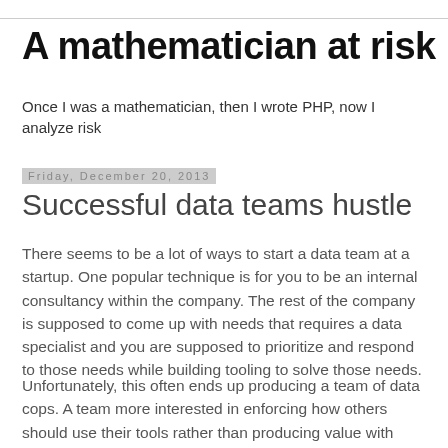A mathematician at risk
Once I was a mathematician, then I wrote PHP, now I analyze risk
Friday, December 20, 2013
Successful data teams hustle
There seems to be a lot of ways to start a data team at a startup. One popular technique is for you to be an internal consultancy within the company. The rest of the company is supposed to come up with needs that requires a data specialist and you are supposed to prioritize and respond to those needs while building tooling to solve those needs.
Unfortunately, this often ends up producing a team of data cops. A team more interested in enforcing how others should use their tools rather than producing value with data.